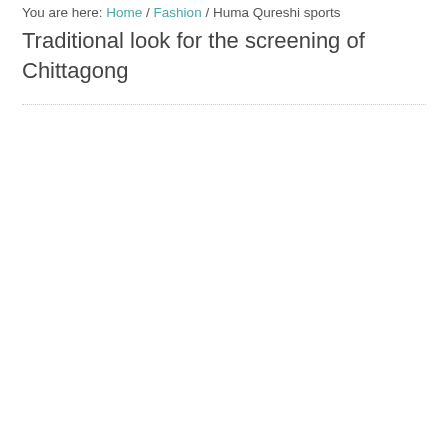You are here: Home / Fashion / Huma Qureshi sports Traditional look for the screening of Chittagong
Traditional look for the screening of Chittagong